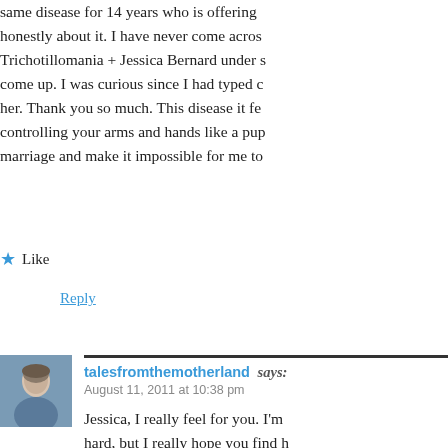same disease for 14 years who is offering honestly about it. I have never come across Trichotillomania + Jessica Bernard under s come up. I was curious since I had typed c her. Thank you so much. This disease it fe controlling your arms and hands like a pup marriage and make it impossible for me to
★ Like
Reply
talesfromthemotherland says:
August 11, 2011 at 10:38 pm

Jessica, I really feel for you. I'm hard, but I really hope you find h marriage and causes you so mu continuing. Hopefully the book